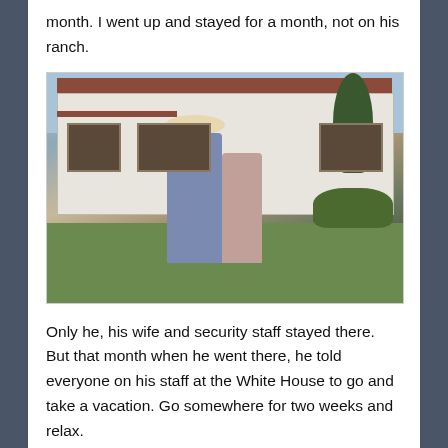month. I went up and stayed for a month, not on his ranch.
[Figure (photo): Two people (a man in a cowboy hat and plaid shirt with jeans, and a woman in lighter clothing) standing in front of a white ranch-style house with a red tile roof, surrounded by trees and a green lawn.]
Only he, his wife and security staff stayed there. But that month when he went there, he told everyone on his staff at the White House to go and take a vacation. Go somewhere for two weeks and relax.
[Figure (photo): Partial photo at bottom left, dark tones, animal or outdoor scene.]
When he was